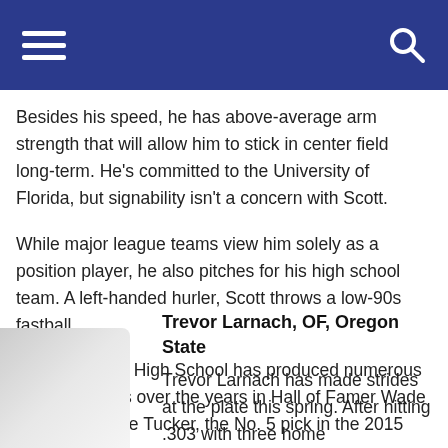Navigation bar with hamburger menu and search icon
Besides his speed, he has above-average arm strength that will allow him to stick in center field long-term. He's committed to the University of Florida, but signability isn't a concern with Scott.
While major league teams view him solely as a position player, he also pitches for his high school team. A left-handed hurler, Scott throws a low-90s fastball.
Henry B. Plant High School has produced numerous draft prospects over the years in Hall of Famer Wade Boggs and Kyle Tucker, the No. 5 pick in the 2015 MLB Draft.
Trevor Larnach, OF, Oregon State
Trevor Larnach has made strides at the plate this spring. After hitting .303 with three home